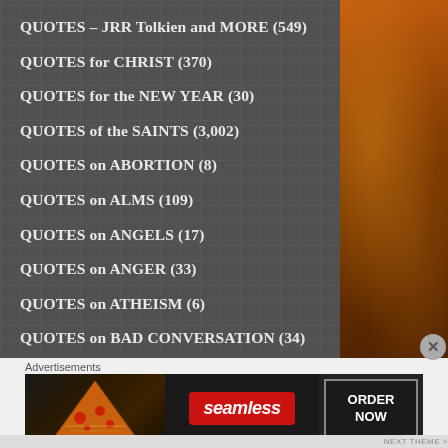QUOTES – JRR Tolkien and MORE (549)
QUOTES for CHRIST (370)
QUOTES for the NEW YEAR (30)
QUOTES of the SAINTS (3,002)
QUOTES on ABORTION (8)
QUOTES on ALMS (109)
QUOTES on ANGELS (17)
QUOTES on ANGER (33)
QUOTES on ATHEISM (6)
QUOTES on BAD CONVERSATION (34)
Advertisements
[Figure (photo): Seamless food delivery advertisement banner showing pizza slices on the left, the Seamless red logo in the center, and an 'ORDER NOW' button on the right with dark background.]